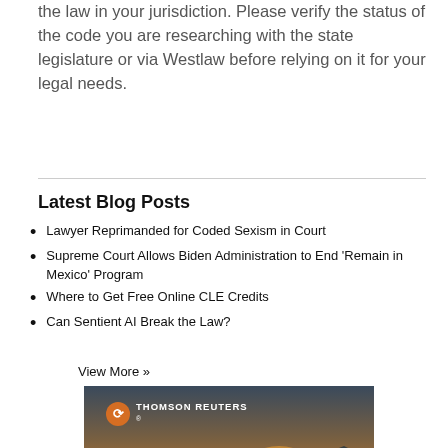the law in your jurisdiction. Please verify the status of the code you are researching with the state legislature or via Westlaw before relying on it for your legal needs.
Latest Blog Posts
Lawyer Reprimanded for Coded Sexism in Court
Supreme Court Allows Biden Administration to End ‘Remain in Mexico’ Program
Where to Get Free Online CLE Credits
Can Sentient AI Break the Law?
View More »
[Figure (photo): Thomson Reuters advertisement image showing a silhouette of a person standing on a mountain peak at sunset, with the Thomson Reuters logo and name in the upper left.]